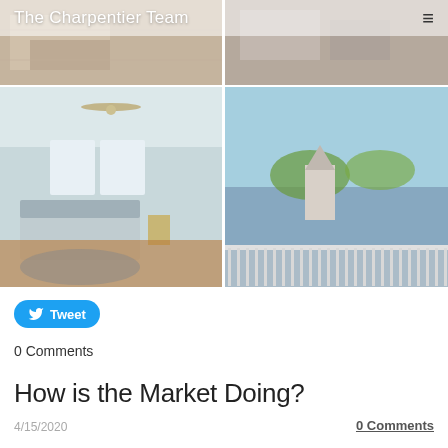The Charpentier Team
[Figure (photo): 2x2 grid of real estate property photos: top row shows two living room/bedroom interior shots partially obscured by header; bottom row shows a bedroom with ceiling fan and hardwood floors (left) and a balcony view overlooking a neighborhood with a church steeple (right)]
[Figure (other): Tweet button (blue rounded button with Twitter bird icon and 'Tweet' text)]
0 Comments
How is the Market Doing?
4/15/2020
0 Comments